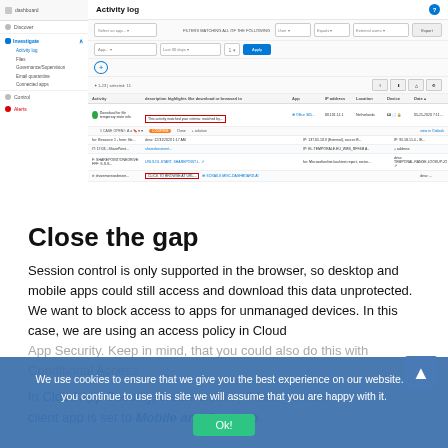[Figure (screenshot): Screenshot of an Activity log interface showing a left navigation sidebar with items like Dashboard, Discover, Investigate (with sub-items: Activity log, Files, Governance/Supervision, Email quarantine, Connected apps), Control, and Alerts. The main panel shows 'Activity log' heading with filter controls and a data table with rows of activity data, one row highlighted with a red box.]
Close the gap
Session control is only supported in the browser, so desktop and mobile apps could still access and download this data unprotected. We want to block access to apps for unmanaged devices. In this case, we are using an access policy in Cloud App Security. Keep in mind, that you could also do this with Conditional Access.
In Cloud App Security, create a policy. Make sure the client app is set to Mobile and Desktop.
We use cookies to ensure that we give you the best experience on our website. If you continue to use this site we will assume that you are happy with it.